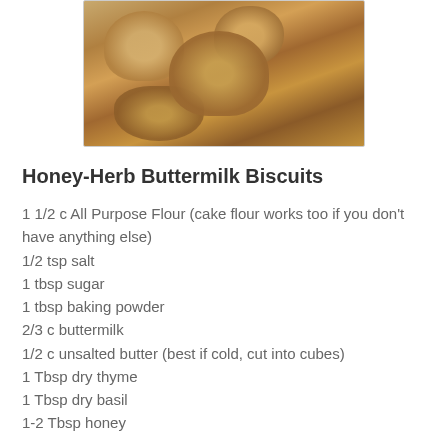[Figure (photo): Photo of honey-herb buttermilk biscuits piled on a plate or basket, golden-brown baked biscuits visible]
Honey-Herb Buttermilk Biscuits
1 1/2 c All Purpose Flour (cake flour works too if you don't have anything else)
1/2 tsp salt
1 tbsp sugar
1 tbsp baking powder
2/3 c buttermilk
1/2 c unsalted butter (best if cold, cut into cubes)
1 Tbsp dry thyme
1 Tbsp dry basil
1-2 Tbsp honey